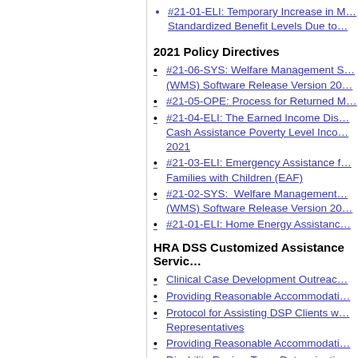#21-01-ELI: Temporary Increase in M… Standardized Benefit Levels Due to…
2021 Policy Directives
#21-06-SYS: Welfare Management S… (WMS) Software Release Version 20…
#21-05-OPE: Process for Returned M…
#21-04-ELI: The Earned Income Dis… Cash Assistance Poverty Level Inco… 2021
#21-03-ELI: Emergency Assistance f… Families with Children (EAF)
#21-02-SYS: Welfare Management… (WMS) Software Release Version 20…
#21-01-ELI: Home Energy Assistanc…
HRA DSS Customized Assistance Servic…
Clinical Case Development Outreac…
Providing Reasonable Accommodati…
Protocol for Assisting DSP Clients w… Representatives
Providing Reasonable Accommodati…
Disability Review Team Determinatio… Timeframes
HRA Center Director Memos
CD #22-09: Routing Applicants/Parti… Appropriate Service Area at the Job…